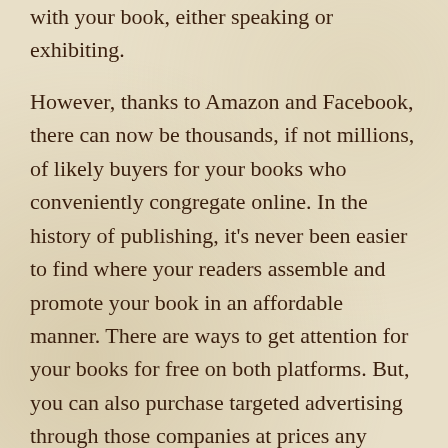with your book, either speaking or exhibiting.
However, thanks to Amazon and Facebook, there can now be thousands, if not millions, of likely buyers for your books who conveniently congregate online. In the history of publishing, it’s never been easier to find where your readers assemble and promote your book in an affordable manner. There are ways to get attention for your books for free on both platforms. But, you can also purchase targeted advertising through those companies at prices any author can afford.
There isn’t enough space in this week’s